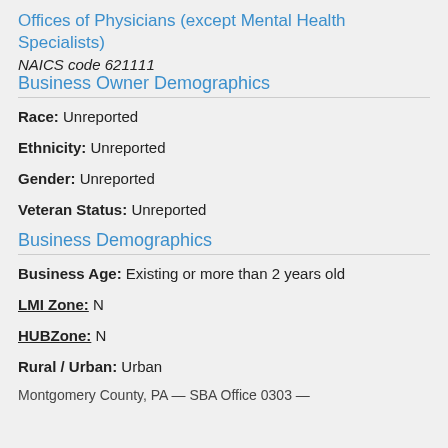Offices of Physicians (except Mental Health Specialists)
NAICS code 621111
Business Owner Demographics
Race: Unreported
Ethnicity: Unreported
Gender: Unreported
Veteran Status: Unreported
Business Demographics
Business Age: Existing or more than 2 years old
LMI Zone: N
HUBZone: N
Rural / Urban: Urban
Montgomery County, PA — SBA Office 0303 —